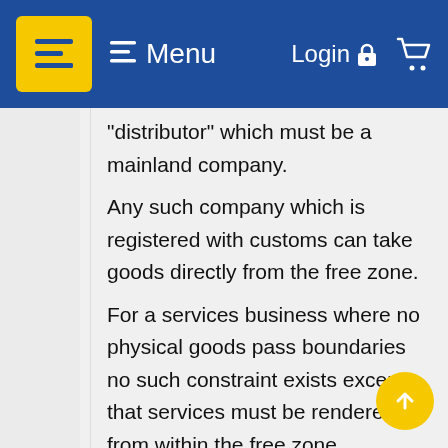Menu | Login
“distributor” which must be a mainland company.
Any such company which is registered with customs can take goods directly from the free zone.
For a services business where no physical goods pass boundaries no such constraint exists except that services must be rendered from within the free zone.
Visa Eligibility
Visa in this case means a residence visa. Anybody who